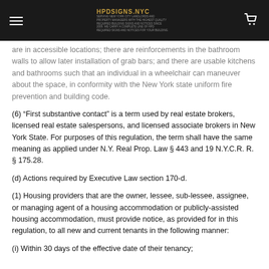HPDSIGNS.NTC
are in accessible locations; there are reinforcements in the bathroom walls to allow later installation of grab bars; and there are usable kitchens and bathrooms such that an individual in a wheelchair can maneuver about the space, in conformity with the New York state uniform fire prevention and building code.
(6) “First substantive contact” is a term used by real estate brokers, licensed real estate salespersons, and licensed associate brokers in New York State. For purposes of this regulation, the term shall have the same meaning as applied under N.Y. Real Prop. Law § 443 and 19 N.Y.C.R. R. § 175.28.
(d) Actions required by Executive Law section 170-d.
(1) Housing providers that are the owner, lessee, sub-lessee, assignee, or managing agent of a housing accommodation or publicly-assisted housing accommodation, must provide notice, as provided for in this regulation, to all new and current tenants in the following manner:
(i) Within 30 days of the effective date of their tenancy;